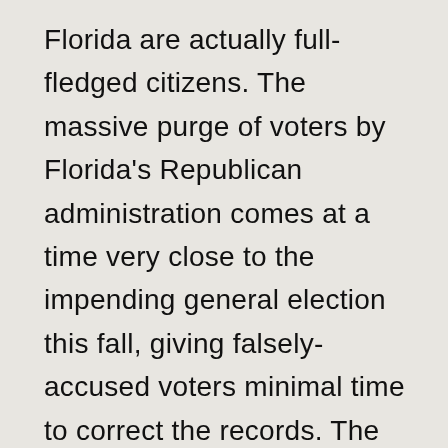Florida are actually full-fledged citizens. The massive purge of voters by Florida's Republican administration comes at a time very close to the impending general election this fall, giving falsely-accused voters minimal time to correct the records. The purge also disproportionally affects Democrats. Two thirds of the supposed non-citizens on the purge list live in Miami-Dade County, which